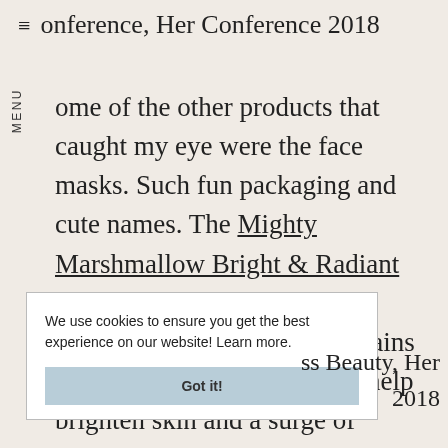onference, Her Conference 2018
ome of the other products that caught my eye were the face masks. Such fun packaging and cute names. The Mighty Marshmallow Bright & Radiant Whipped Mask has such a decadent, airy texture. It contains marshmallow root extract to help brighten skin and a surge of hydration for a healthy glow. Super fun to put on and easy
We use cookies to ensure you get the best experience on our website! Learn more.
Got it!
ss Beauty, Her 2018